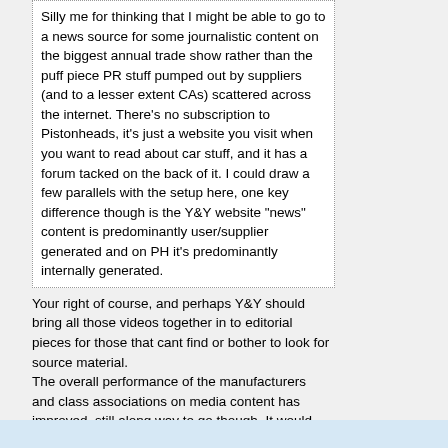Silly me for thinking that I might be able to go to a news source for some journalistic content on the biggest annual trade show rather than the puff piece PR stuff pumped out by suppliers (and to a lesser extent CAs) scattered across the internet. There's no subscription to Pistonheads, it's just a website you visit when you want to read about car stuff, and it has a forum tacked on the back of it.  I could draw a few parallels with the setup here, one key difference though is the Y&Y website "news" content is predominantly user/supplier generated and on PH it's predominantly internally generated.
Your right of course, and perhaps Y&Y should bring all those videos together in to editorial pieces for those that cant find or bother to look for source material.
The overall performance of the manufacturers and class associations on media content has improved, still along way to go though.  It would require a sizeable and well oiled team to cover the show with decent content over two days.
T-SHIRTS
PRINTS